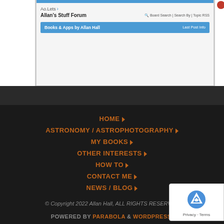[Figure (screenshot): Browser screenshot showing Allan's Stuff Forum with a blue navigation bar, forum title, and Books & Apps by Allan Hall listing]
HOME
ASTRONOMY / ASTROPHOTOGRAPHY
MY BOOKS
OTHER INTERESTS
HOW TO
CONTACT ME
NEWS / BLOG
© Copyright 2022 Allan Hall, ALL RIGHTS RESERVED
POWERED BY PARABOLA & WORDPRESS.